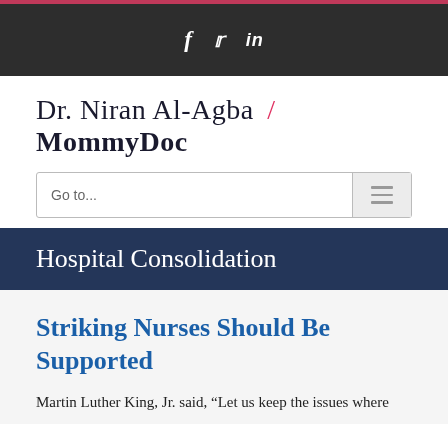f  𝐓  in
Dr. Niran Al-Agba / MommyDoc
Go to...
Hospital Consolidation
Striking Nurses Should Be Supported
Martin Luther King, Jr. said, “Let us keep the issues where